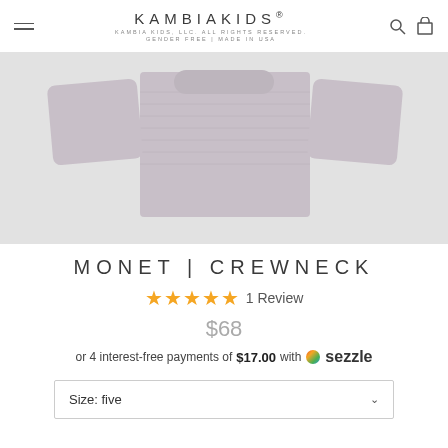KAMBIAKIDS® KAMBIA KIDS, LLC. ALL RIGHTS RESERVED. GENDER FREE | MADE IN USA
[Figure (photo): Product photo of a light gray/mauve ribbed crewneck sweater laid flat, showing the neckline and sleeves against a light gray background]
MONET | CREWNECK
★★★★★ 1 Review
$68
or 4 interest-free payments of $17.00 with Sezzle
Size: five